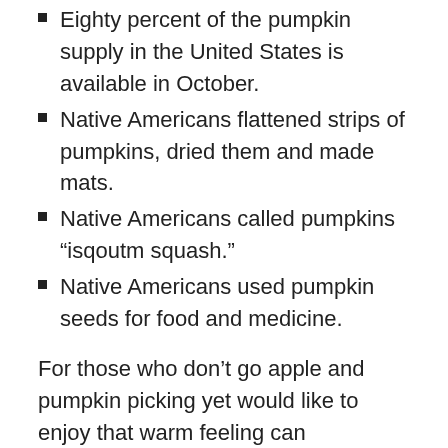Eighty percent of the pumpkin supply in the United States is available in October.
Native Americans flattened strips of pumpkins, dried them and made mats.
Native Americans called pumpkins “isqoutm squash.”
Native Americans used pumpkin seeds for food and medicine.
For those who don’t go apple and pumpkin picking yet would like to enjoy that warm feeling can experience it with our new Harvest Pumpkin place mats and table runners. These beautiful 14″ x 20″ burlap like place mats will give your table a burst of color with the bright and cheerful pumpkin design. Enhance your festivities and enjoy the Harvest Pumpkin Table Runners as well. Another option is to go with the solid Natural Woven place mats